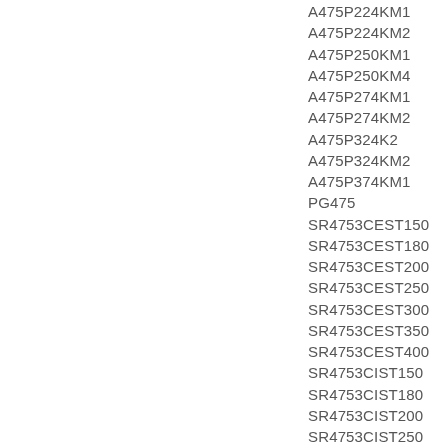A475P224KM1
A475P224KM2
A475P250KM1
A475P250KM4
A475P274KM1
A475P274KM2
A475P324K2
A475P324KM2
A475P374KM1
PG475
SR4753CEST150
SR4753CEST180
SR4753CEST200
SR4753CEST250
SR4753CEST300
SR4753CEST350
SR4753CEST400
SR4753CIST150
SR4753CIST180
SR4753CIST200
SR4753CIST250
SR4753CIST300